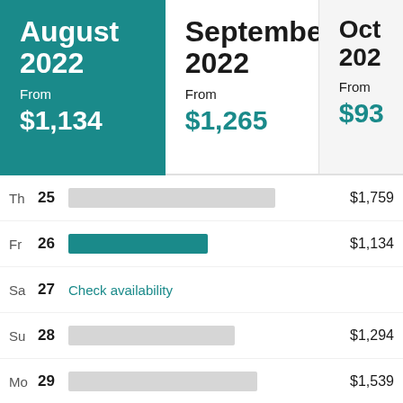August 2022 From $1,134
September 2022 From $1,265
Oct 202 From $93
| Day | Date | Bar | Price |
| --- | --- | --- | --- |
| Th | 25 | bar-gray-long | $1,759 |
| Fr | 26 | bar-teal-medium | $1,134 |
| Sa | 27 | Check availability |  |
| Su | 28 | bar-gray-medium | $1,294 |
| Mo | 29 | bar-gray-medium2 | $1,539 |